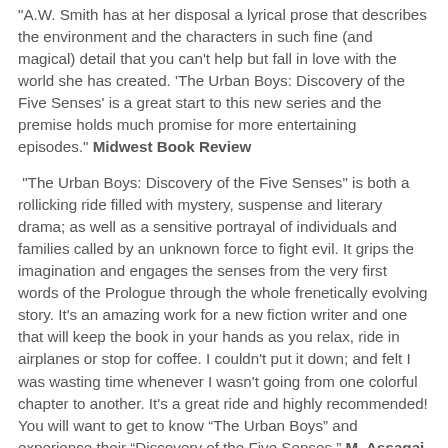"A.W. Smith has at her disposal a lyrical prose that describes the environment and the characters in such fine (and magical) detail that you can't help but fall in love with the world she has created. 'The Urban Boys: Discovery of the Five Senses' is a great start to this new series and the premise holds much promise for more entertaining episodes." Midwest Book Review
"The Urban Boys: Discovery of the Five Senses" is both a rollicking ride filled with mystery, suspense and literary drama; as well as a sensitive portrayal of individuals and families called by an unknown force to fight evil. It grips the imagination and engages the senses from the very first words of the Prologue through the whole frenetically evolving story. It's an amazing work for a new fiction writer and one that will keep the book in your hands as you relax, ride in airplanes or stop for coffee. I couldn't put it down; and felt I was wasting time whenever I wasn't going from one colorful chapter to another. It's a great ride and highly recommended! You will want to get to know “The Urban Boys” and experience their “Discovery of the Five Senses.” M. Assagai, Sacramento, CA